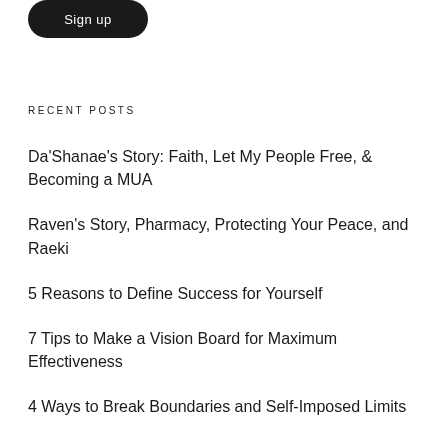[Figure (other): A black rounded rectangle button with white text reading 'Sign up']
RECENT POSTS
Da'Shanae's Story: Faith, Let My People Free, & Becoming a MUA
Raven's Story, Pharmacy, Protecting Your Peace, and Raeki
5 Reasons to Define Success for Yourself
7 Tips to Make a Vision Board for Maximum Effectiveness
4 Ways to Break Boundaries and Self-Imposed Limits